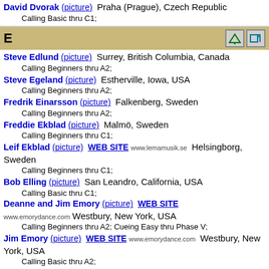David Dvorak (picture)  Praha (Prague), Czech Republic
        Calling Basic thru C1;
E
Steve Edlund (picture)  Surrey, British Columbia, Canada
        Calling Beginners thru A2;
Steve Egeland (picture)  Estherville, Iowa, USA
        Calling Beginners thru A2;
Fredrik Einarsson (picture)  Falkenberg, Sweden
        Calling Beginners thru A2;
Freddie Ekblad (picture)  Malmö, Sweden
        Calling Beginners thru C1;
Leif Ekblad (picture)  WEB SITE www.lemamusik.se  Helsingborg, Sweden
        Calling Beginners thru C1;
Bob Elling (picture)  San Leandro, California, USA
        Calling Basic thru C1;
Deanne and Jim Emory (picture)  WEB SITE www.emorydance.com  Westbury, New York, USA
        Calling Beginners thru A2; Cueing Easy thru Phase V;
Jim Emory (picture)  WEB SITE www.emorydance.com  Westbury, New York, USA
        Calling Basic thru A2;
Dave Eno (picture)  Preble, New York, USA
        Calling Beginners thru C2;
Phil Eno  Martville, New York, USA
        Calling Basic thru A2; Cueing Easy thru Phase IV;
John Eubanks (picture)  Retired  Joplin, Missouri, USA
        Calling Mainstream thru A2;